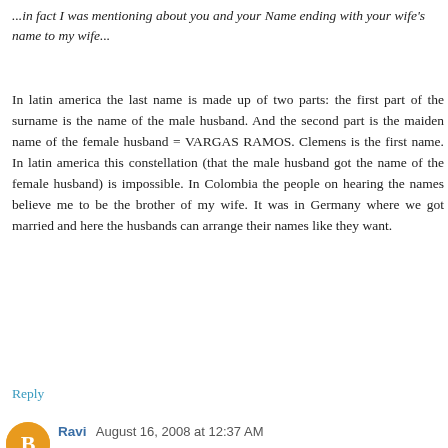...in fact I was mentioning about you and your Name ending with your wife's name to my wife...
In latin america the last name is made up of two parts: the first part of the surname is the name of the male husband. And the second part is the maiden name of the female husband = VARGAS RAMOS. Clemens is the first name. In latin america this constellation (that the male husband got the name of the female husband) is impossible. In Colombia the people on hearing the names believe me to be the brother of my wife. It was in Germany where we got married and here the husbands can arrange their names like they want.
Reply
Ravi  August 16, 2008 at 12:37 AM
Ramos,
"I visited a so called "self enquiry seminar" and was astonished to see that the people tried to *analyze* each other, hunting the ego, you understand? In fact they made...